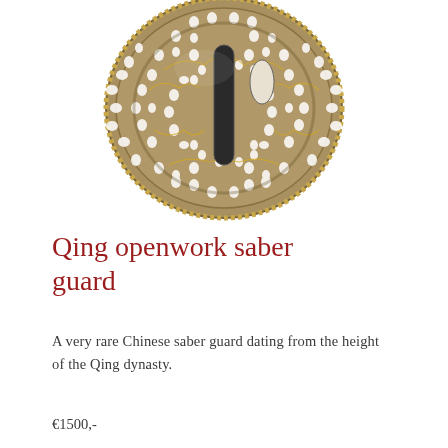[Figure (photo): A round ornate Qing dynasty openwork saber guard (tsuba-like), made of gilt bronze with intricate pierced floral and geometric patterns. The guard has a central elongated blade slot and a smaller oval opening, with detailed raised decoration throughout the circular disc.]
Qing openwork saber guard
A very rare Chinese saber guard dating from the height of the Qing dynasty.
€1500,-